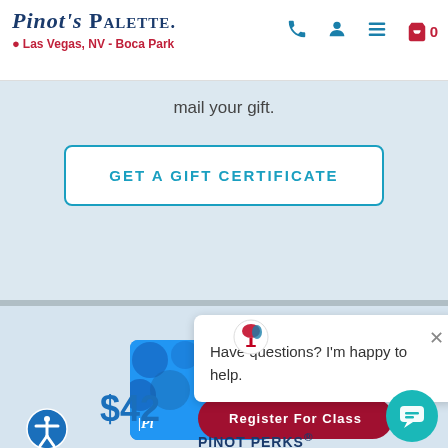Pinot's Palette - Las Vegas, NV - Boca Park
mail your gift.
GET A GIFT CERTIFICATE
Have questions? I'm happy to help.
$42
Register For Class
PINOT PERKS®